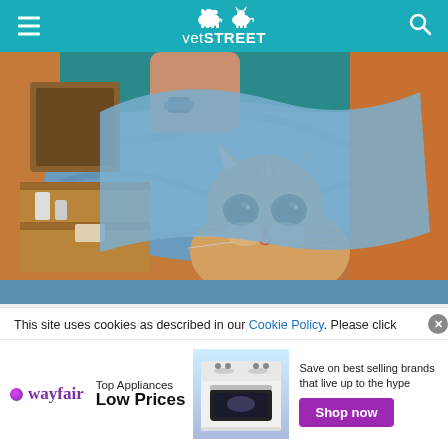vetSTREET
[Figure (photo): An orange tabby cat wrapped in a blue towel being held by a person in a teal veterinary uniform, at a veterinary clinic]
This site uses cookies as described in our Cookie Policy. Please click
[Figure (infographic): Wayfair advertisement banner: Top Appliances Low Prices, with an image of a range/stove, and text 'Save on best selling brands that live up to the hype' with a purple 'Shop now' button]